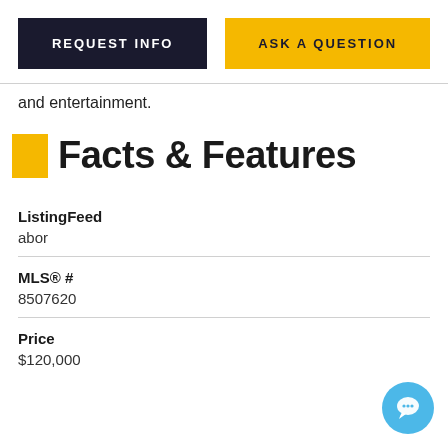REQUEST INFO
ASK A QUESTION
and entertainment.
Facts & Features
ListingFeed
abor
MLS® #
8507620
Price
$120,000